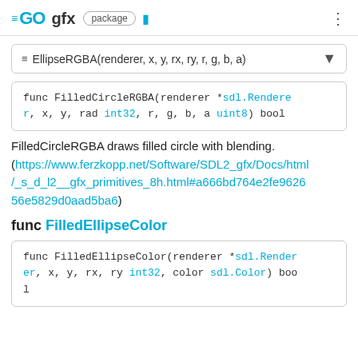GO gfx package
≡ EllipseRGBA(renderer, x, y, rx, ry, r, g, b, a)
func FilledCircleRGBA(renderer *sdl.Renderer, x, y, rad int32, r, g, b, a uint8) bool
FilledCircleRGBA draws filled circle with blending. (https://www.ferzkopp.net/Software/SDL2_gfx/Docs/html/_s_d_l2__gfx_primitives_8h.html#a666bd764e2fe962656e5829d0aad5ba6)
func FilledEllipseColor
func FilledEllipseColor(renderer *sdl.Renderer, x, y, rx, ry int32, color sdl.Color) bool